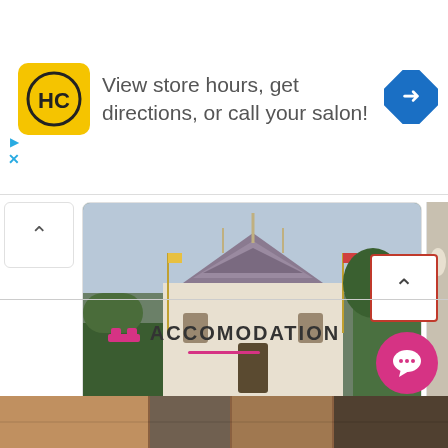[Figure (screenshot): Advertisement banner with HC logo (yellow square with black HC letters), text 'View store hours, get directions, or call your salon!', and a blue diamond navigation arrow icon on the right]
[Figure (photo): Photo of Wat Kaew Korawaram temple in Krabi, Thailand — white ornate Thai temple building with elaborate roof]
Wat Kaew Korawaram
★★☆☆☆  $  Temple
Krabi - Krabi  7.1 KM
[Figure (photo): Partial photo of Wat Sai T (truncated) showing a white reclining Buddha statue]
Wat Sai T
★★★★☆
Krabi -
ACCOMODATION
[Figure (photo): Partial photo strip at the bottom of the page showing accommodation]